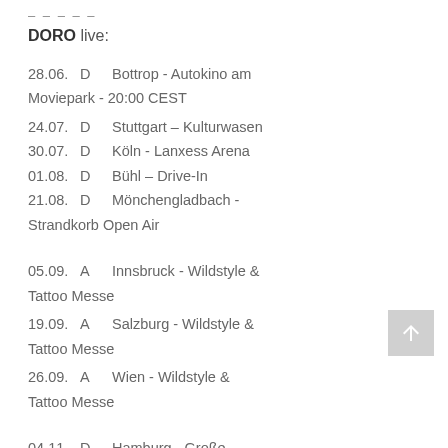-----
DORO live:
28.06.  D        Bottrop - Autokino am Moviepark - 20:00 CEST
24.07.  D        Stuttgart – Kulturwasen
30.07.  D        Köln - Lanxess Arena
01.08.  D        Bühl – Drive-In
21.08.  D        Mönchengladbach - Strandkorb Open Air
05.09.  A        Innsbruck - Wildstyle & Tattoo Messe
19.09.  A        Salzburg - Wildstyle & Tattoo Messe
26.09.  A        Wien - Wildstyle & Tattoo Messe
04.11.  D        Hamburg - Große